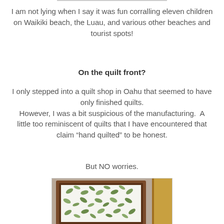I am not lying when I say it was fun corralling eleven children
on Waikiki beach, the Luau, and various other beaches and tourist spots!
On the quilt front?
I only stepped into a quilt shop in Oahu that seemed to have only finished quilts.
However, I was a bit suspicious of the manufacturing.  A little too reminiscent of quilts that I have encountered that claim "hand quilted" to be honest.
But NO worries.
[Figure (photo): Framed Hawaiian quilt with green leaf/botanical pattern on white background, in a wooden frame, partially visible.]